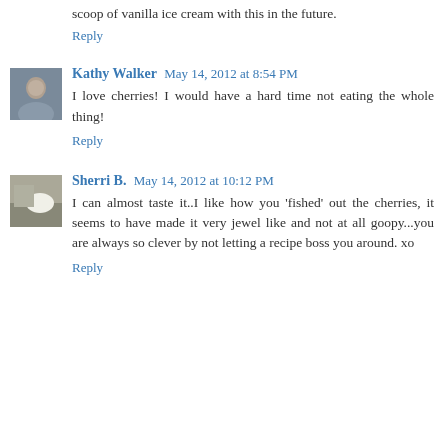scoop of vanilla ice cream with this in the future.
Reply
Kathy Walker  May 14, 2012 at 8:54 PM
I love cherries! I would have a hard time not eating the whole thing!
Reply
Sherri B.  May 14, 2012 at 10:12 PM
I can almost taste it..I like how you 'fished' out the cherries, it seems to have made it very jewel like and not at all goopy...you are always so clever by not letting a recipe boss you around. xo
Reply